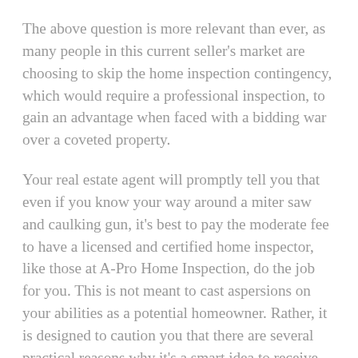The above question is more relevant than ever, as many people in this current seller's market are choosing to skip the home inspection contingency, which would require a professional inspection, to gain an advantage when faced with a bidding war over a coveted property.
Your real estate agent will promptly tell you that even if you know your way around a miter saw and caulking gun, it's best to pay the moderate fee to have a licensed and certified home inspector, like those at A-Pro Home Inspection, do the job for you. This is not meant to cast aspersions on your abilities as a potential homeowner. Rather, it is designed to caution you that there are several practical reasons why it's a smart idea to receive an independent, third-party assessment of a property before you buy.